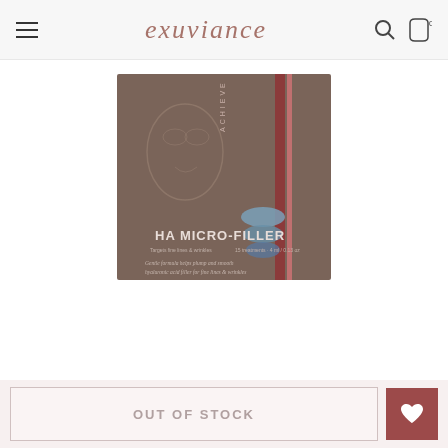exuviance
[Figure (photo): Product box for Exuviance HA Micro-Filler, showing a brown/taupe box with burgundy stripe, face sketch illustration, and blue eye patch graphics. Text on box reads 'HA MICRO-FILLER'.]
$88.00 $66.00
We're sorry for the inconvenience
OUT OF STOCK